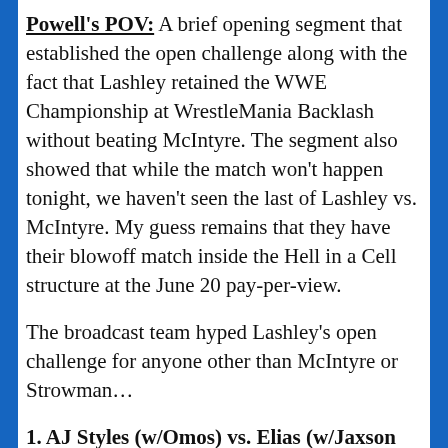Powell's POV: A brief opening segment that established the open challenge along with the fact that Lashley retained the WWE Championship at WrestleMania Backlash without beating McIntyre. The segment also showed that while the match won't happen tonight, we haven't seen the last of Lashley vs. McIntyre. My guess remains that they have their blowoff match inside the Hell in a Cell structure at the June 20 pay-per-view.
The broadcast team hyped Lashley's open challenge for anyone other than McIntyre or Strowman...
1. AJ Styles (w/Omos) vs. Elias (w/Jaxson Ryker). Styles leapt over the ropes and hit Elias with a forearm at ringside. When Ryker approached